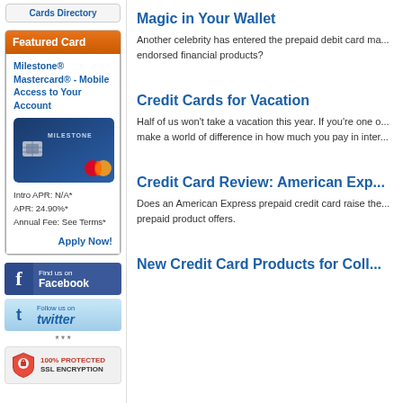Cards Directory
Featured Card
Milestone® Mastercard® - Mobile Access to Your Account
[Figure (other): Milestone Mastercard credit card image - dark blue card with silver chip and Mastercard logo]
Intro APR: N/A*
APR: 24.90%*
Annual Fee: See Terms*
Apply Now!
[Figure (other): Find us on Facebook social media button]
[Figure (other): Follow us on Twitter social media button]
* * *
[Figure (other): 100% Protected SSL Encryption security badge with red shield icon]
Magic in Your Wallet
Another celebrity has entered the prepaid debit card ma... endorsed financial products?
Credit Cards for Vacation
Half of us won't take a vacation this year. If you're one o... make a world of difference in how much you pay in inter...
Credit Card Review: American Exp...
Does an American Express prepaid credit card raise the... prepaid product offers.
New Credit Card Products for Coll...